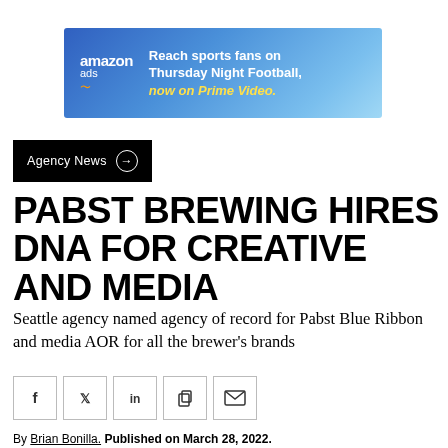[Figure (other): Amazon Ads banner advertisement: 'Reach sports fans on Thursday Night Football, now on Prime Video.' Blue gradient background with Amazon Ads logo on left and text on right in yellow and white.]
Agency News →
PABST BREWING HIRES DNA FOR CREATIVE AND MEDIA
Seattle agency named agency of record for Pabst Blue Ribbon and media AOR for all the brewer's brands
[Figure (other): Social share buttons: Facebook, Twitter, LinkedIn, Copy, Email]
By Brian Bonilla. Published on March 28, 2022.